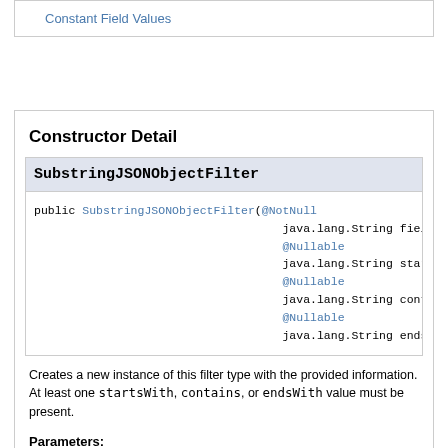Constant Field Values
Constructor Detail
SubstringJSONObjectFilter
public SubstringJSONObjectFilter(@NotNull java.lang.String field, @Nullable java.lang.String startsWith, @Nullable java.lang.String contains, @Nullable java.lang.String endsWith)
Creates a new instance of this filter type with the provided information. At least one startsWith, contains, or endsWith value must be present.
Parameters:
field - The name of the top-level field to target with this filter. It must not be null . See the class-level documentation for the JSONObjectFilter class for information about field path